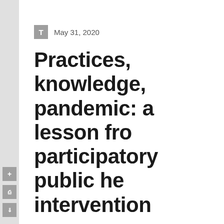May 31, 2020
Practices, knowledge, pandemic: a lesson from participatory public health intervention
By Alejandro Cerón
This article is part of the series: Dispatches from the
My time doing public health work in Guatemala